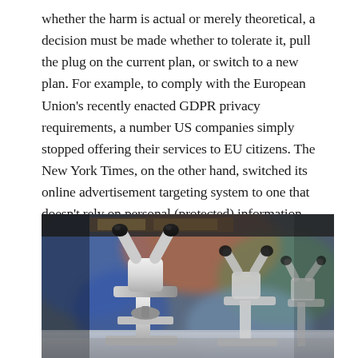whether the harm is actual or merely theoretical, a decision must be made whether to tolerate it, pull the plug on the current plan, or switch to a new plan. For example, to comply with the European Union's recently enacted GDPR privacy requirements, a number US companies simply stopped offering their services to EU citizens. The New York Times, on the other hand, switched its online advertisement targeting system to one that doesn't rely on personal (protected) information—with profitable results.
[Figure (photo): A row of white laboratory microscopes on a table, photographed from a low angle against a blurred colorful background. Multiple microscopes visible with black eyepieces.]